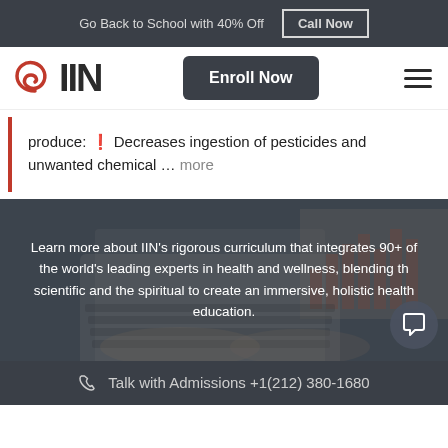Go Back to School with 40% Off   Call Now
[Figure (logo): IIN logo with red spiral and bold IIN text]
Enroll Now
produce: ❧ Decreases ingestion of pesticides and unwanted chemical … more
[Figure (photo): Person typing on a laptop with bar charts visible on papers in the background. Overlay text reads: Learn more about IIN's rigorous curriculum that integrates 90+ of the world's leading experts in health and wellness, blending the scientific and the spiritual to create an immersive, holistic health education.]
Talk with Admissions +1(212) 380-1680